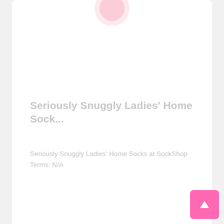Seriously Snuggly Ladies’ Home Sock...
Seriously Snuggly Ladies’ Home Socks at SockShop
Terms: N/A
GET DEAL
No thanks
☆ 0
2020-27-01